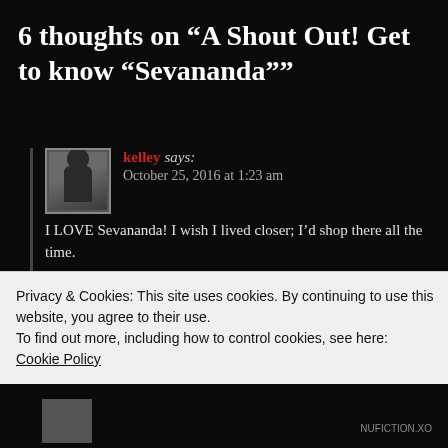6 thoughts on “A Shout Out! Get to know “Sevananda””
kelley says:
October 25, 2016 at 1:23 am
I LOVE Sevananda! I wish I lived closer; I’d shop there all the time.
★ Liked by 2 people
Reply
themelanatedman says:
Privacy & Cookies: This site uses cookies. By continuing to use this website, you agree to their use.
To find out more, including how to control cookies, see here:
Cookie Policy
Close and accept